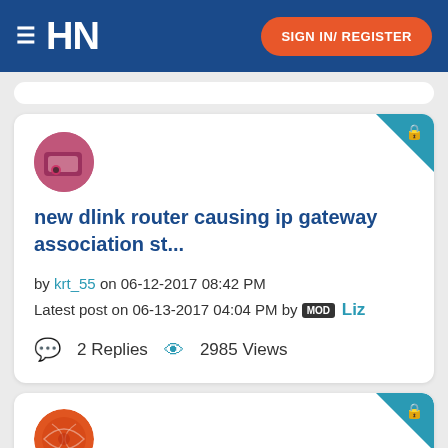HN  SIGN IN/ REGISTER
[Figure (screenshot): Forum post card with avatar, title, metadata, and stats]
new dlink router causing ip gateway association st...
by krt_55 on 06-12-2017 08:42 PM
Latest post on 06-13-2017 04:04 PM by MOD Liz
2 Replies  2985 Views
[Figure (screenshot): Partial forum post card with red yarn ball avatar]
Opinions on using phone as mobile hotspot